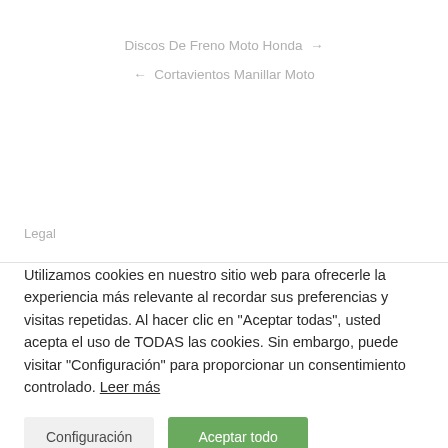Discos De Freno Moto Honda →
← Cortavientos Manillar Moto
Legal
Utilizamos cookies en nuestro sitio web para ofrecerle la experiencia más relevante al recordar sus preferencias y visitas repetidas. Al hacer clic en "Aceptar todas", usted acepta el uso de TODAS las cookies. Sin embargo, puede visitar "Configuración" para proporcionar un consentimiento controlado. Leer más
Configuración
Aceptar todo